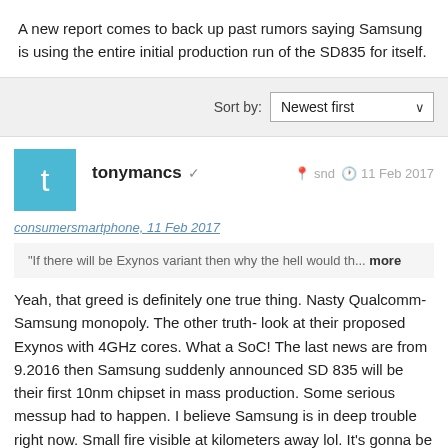A new report comes to back up past rumors saying Samsung is using the entire initial production run of the SD835 for itself.
Sort by: Newest first
tonymancs ✓   snd   11 Feb 2017
consumersmartphone, 11 Feb 2017
"If there will be Exynos variant then why the hell would th... more
Yeah, that greed is definitely one true thing. Nasty Qualcomm-Samsung monopoly. The other truth- look at their proposed Exynos with 4GHz cores. What a SoC! The last news are from 9.2016 then Samsung suddenly announced SD 835 will be their first 10nm chipset in mass production. Some serious messup had to happen. I believe Samsung is in deep trouble right now. Small fire visible at kilometers away lol. It's gonna be fun if SD 835 gonna make phones hot like oven.